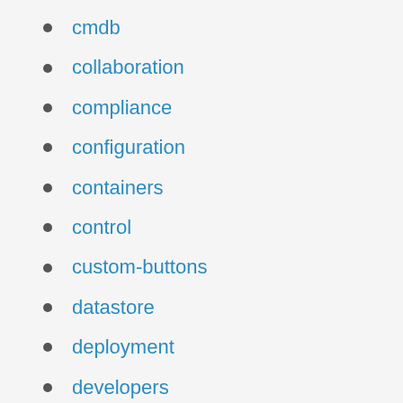cmdb
collaboration
compliance
configuration
containers
control
custom-buttons
datastore
deployment
developers
events
external